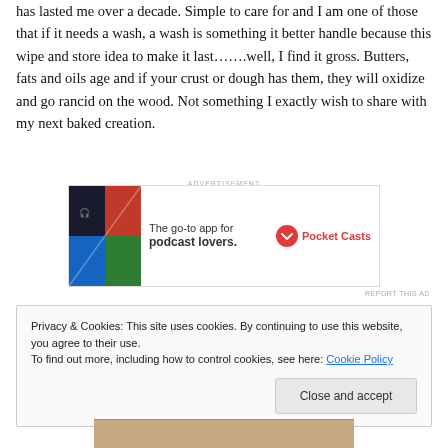has lasted me over a decade. Simple to care for and I am one of those that if it needs a wash, a wash is something it better handle because this wipe and store idea to make it last…….well, I find it gross. Butters, fats and oils age and if your crust or dough has them, they will oxidize and go rancid on the wood. Not something I exactly wish to share with my next baked creation.
[Figure (infographic): Advertisement for Pocket Casts app: colorful tiled logo on left, text 'The go-to app for podcast lovers.' and Pocket Casts logo on right.]
REPORT THIS AD
Privacy & Cookies: This site uses cookies. By continuing to use this website, you agree to their use.
To find out more, including how to control cookies, see here: Cookie Policy
Close and accept
[Figure (photo): Partial image of a wooden surface visible at the bottom of the page.]